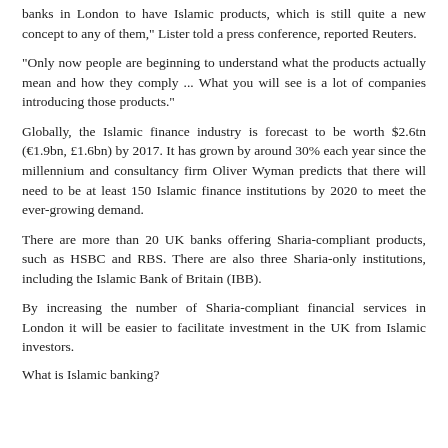banks in London to have Islamic products, which is still quite a new concept to any of them," Lister told a press conference, reported Reuters.
"Only now people are beginning to understand what the products actually mean and how they comply ... What you will see is a lot of companies introducing those products."
Globally, the Islamic finance industry is forecast to be worth $2.6tn (€1.9bn, £1.6bn) by 2017. It has grown by around 30% each year since the millennium and consultancy firm Oliver Wyman predicts that there will need to be at least 150 Islamic finance institutions by 2020 to meet the ever-growing demand.
There are more than 20 UK banks offering Sharia-compliant products, such as HSBC and RBS. There are also three Sharia-only institutions, including the Islamic Bank of Britain (IBB).
By increasing the number of Sharia-compliant financial services in London it will be easier to facilitate investment in the UK from Islamic investors.
What is Islamic banking?